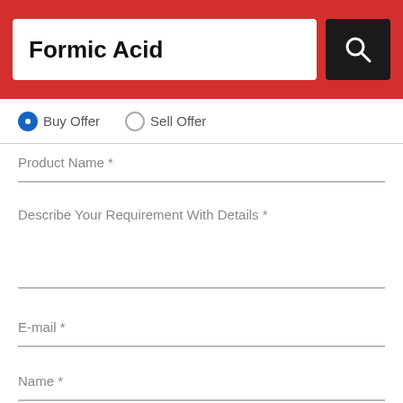Formic Acid
Buy Offer  Sell Offer
Product Name *
Describe Your Requirement With Details *
E-mail *
Name *
Mobile Number *
Company Name *